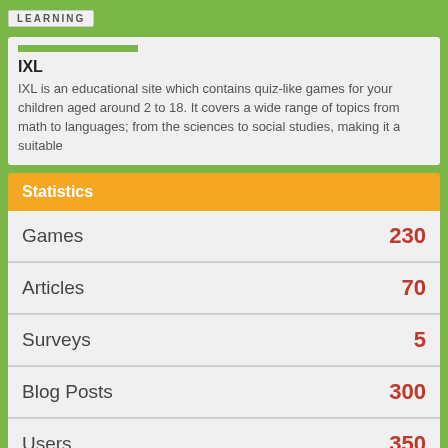LEARNING
IXL
IXL is an educational site which contains quiz-like games for your children aged around 2 to 18. It covers a wide range of topics from math to languages; from the sciences to social studies, making it a suitable
| Category | Count |
| --- | --- |
| Games | 230 |
| Articles | 70 |
| Surveys | 5 |
| Blog Posts | 300 |
| Users | 350 |
| User Reviews | 3 |
Find us on Facebook